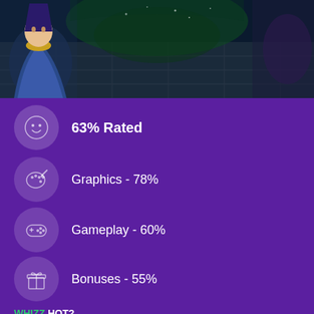[Figure (illustration): Fantasy game banner showing a wizard character on the left and mystical dungeon stone floor with green lighting, another character on the right]
63% Rated
Graphics - 78%
Gameplay - 60%
Bonuses - 55%
Value - 42%
WHIZZ HOT?
Free spins feature with elemental wilds
Progress bar that converts elemental wilds into free spins
Gorgeous game art